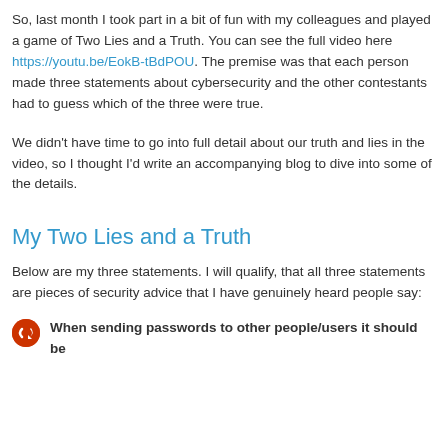So, last month I took part in a bit of fun with my colleagues and played a game of Two Lies and a Truth. You can see the full video here https://youtu.be/EokB-tBdPOU. The premise was that each person made three statements about cybersecurity and the other contestants had to guess which of the three were true.
We didn't have time to go into full detail about our truth and lies in the video, so I thought I'd write an accompanying blog to dive into some of the details.
My Two Lies and a Truth
Below are my three statements. I will qualify, that all three statements are pieces of security advice that I have genuinely heard people say:
When sending passwords to other people/users it should be